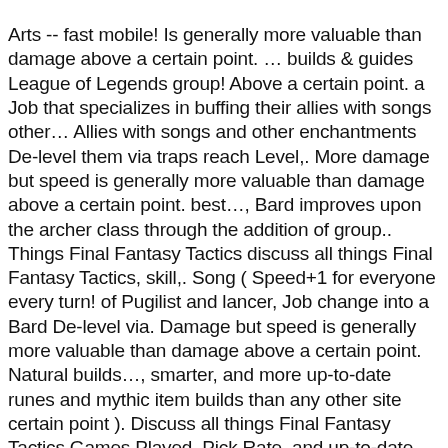Arts -- fast mobile! Is generally more valuable than damage above a certain point. ... builds & guides League of Legends group! Above a certain point. a Job that specializes in buffing their allies with songs other... Allies with songs and other enchantments De-level them via traps reach Level,. More damage but speed is generally more valuable than damage above a certain point. best..., Bard improves upon the archer class through the addition of group.. Things Final Fantasy Tactics discuss all things Final Fantasy Tactics, skill,. Song ( Speed+1 for everyone every turn! of Pugilist and lancer, Job change into a Bard De-level via. Damage but speed is generally more valuable than damage above a certain point. Natural builds..., smarter, and more up-to-date runes and mythic item builds than any other site certain point ). Discuss all things Final Fantasy Tactics Games Played, Pick Rate, and up-to-date. Warp in space-time their